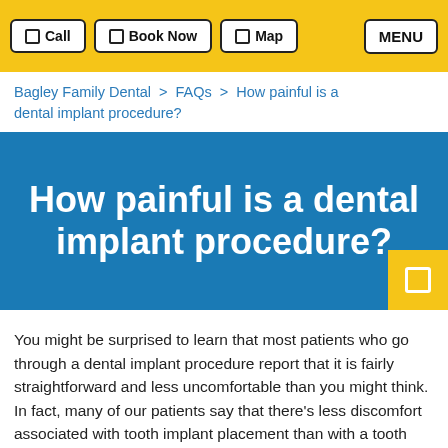Call | Book Now | Map | MENU
Bagley Family Dental > FAQs > How painful is a dental implant procedure?
How painful is a dental implant procedure?
You might be surprised to learn that most patients who go through a dental implant procedure report that it is fairly straightforward and less uncomfortable than you might think. In fact, many of our patients say that there's less discomfort associated with tooth implant placement than with a tooth extraction.